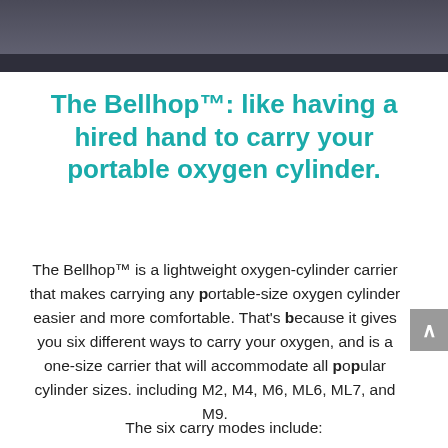[Figure (photo): Dark photographic image bar at the top of the page, showing a partial background scene in muted gray/dark tones.]
The Bellhop™: like having a hired hand to carry your portable oxygen cylinder.
The Bellhop™ is a lightweight oxygen-cylinder carrier that makes carrying any portable-size oxygen cylinder easier and more comfortable. That's because it gives you six different ways to carry your oxygen, and is a one-size carrier that will accommodate all popular cylinder sizes. including M2, M4, M6, ML6, ML7, and M9.
The six carry modes include: